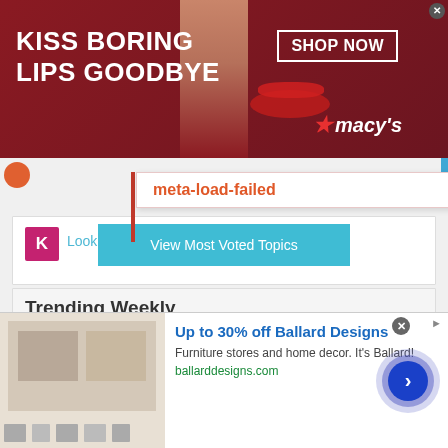[Figure (screenshot): Macy's banner advertisement with dark red background, model's face with red lips, text 'KISS BORING LIPS GOODBYE', 'SHOP NOW' button, and Macy's star logo]
meta-load-failed
Looking fo...mine
about 20 hours ago
[Figure (screenshot): Blue 'View Most Voted Topics' button]
Trending Weekly
[Figure (screenshot): Ballard Designs advertisement: 'Up to 30% off Ballard Designs', 'Furniture stores and home decor. It's Ballard!', 'ballarddesigns.com', with furniture image thumbnail and navigation arrow button]